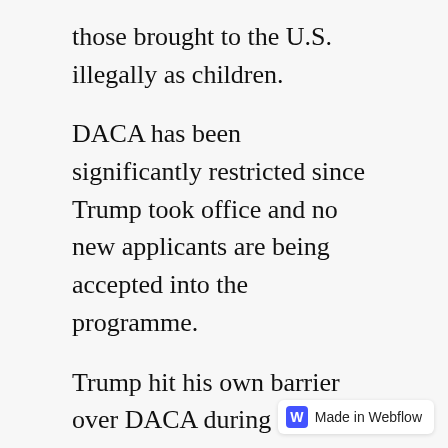those brought to the U.S. illegally as children.
DACA has been significantly restricted since Trump took office and no new applicants are being accepted into the programme.
Trump hit his own barrier over DACA during the summer when the United States Supreme Court blocked his attempt to rescind the programme. The White House said they would continue to review the legislation but since then, the popularity of it has made Trump reluctant to discuss any further efforts to end it during election season.
This leaves a big hole in his immigration plans and roughly 800,000 Dreamers uncertain for